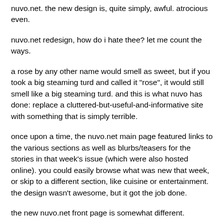nuvo.net. the new design is, quite simply, awful. atrocious even.
nuvo.net redesign, how do i hate thee? let me count the ways.
a rose by any other name would smell as sweet, but if you took a big steaming turd and called it "rose", it would still smell like a big steaming turd. and this is what nuvo has done: replace a cluttered-but-useful-and-informative site with something that is simply terrible.
once upon a time, the nuvo.net main page featured links to the various sections as well as blurbs/teasers for the stories in that week's issue (which were also hosted online). you could easily browse what was new that week, or skip to a different section, like cuisine or entertainment. the design wasn't awesome, but it got the job done.
the new nuvo.net front page is somewhat different.
you know when you go to a site whose domain has expired